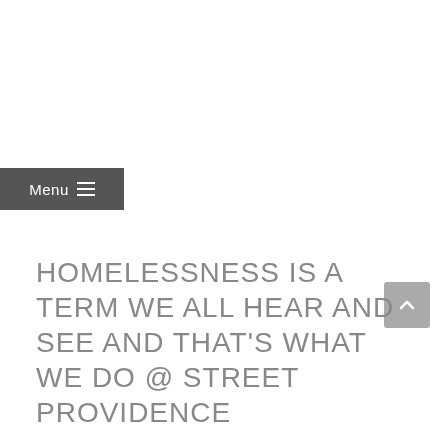Menu
HOMELESSNESS IS A TERM WE ALL HEAR AND SEE AND THAT'S WHAT WE DO @ STREET PROVIDENCE